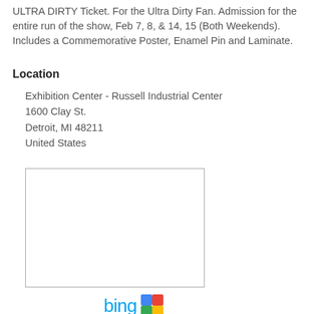ULTRA DIRTY Ticket. For the Ultra Dirty Fan. Admission for the entire run of the show, Feb 7, 8, & 14, 15 (Both Weekends). Includes a Commemorative Poster, Enamel Pin and Laminate.
Location
Exhibition Center - Russell Industrial Center
1600 Clay St.
Detroit, MI 48211
United States
[Figure (map): Embedded map placeholder showing the location of Russell Industrial Center, Detroit, MI 48211]
[Figure (logo): Bing and Google Maps logos for map navigation options]